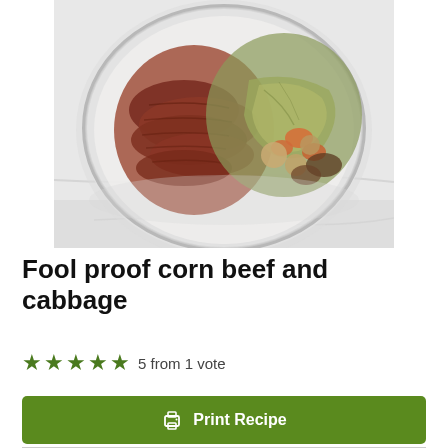[Figure (photo): Overhead photo of a glass bowl containing sliced corned beef on the left side and cooked cabbage with carrots, potatoes, and other vegetables on the right side, on a white marble surface.]
Fool proof corn beef and cabbage
5 from 1 vote
Print Recipe